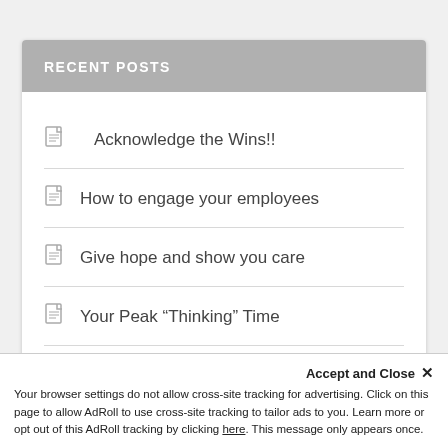RECENT POSTS
Acknowledge the Wins!!
How to engage your employees
Give hope and show you care
Your Peak “Thinking” Time
Retaining your employees
Accept and Close ×
Your browser settings do not allow cross-site tracking for advertising. Click on this page to allow AdRoll to use cross-site tracking to tailor ads to you. Learn more or opt out of this AdRoll tracking by clicking here. This message only appears once.